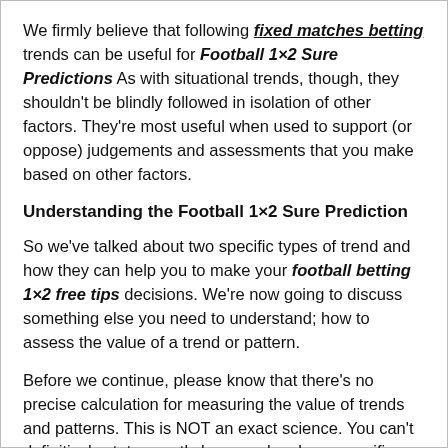We firmly believe that following fixed matches betting trends can be useful for Football 1×2 Sure Predictions As with situational trends, though, they shouldn't be blindly followed in isolation of other factors. They're most useful when used to support (or oppose) judgements and assessments that you make based on other factors.
Understanding the Football 1×2 Sure Prediction
So we've talked about two specific types of trend and how they can help you to make your football betting 1×2 free tips decisions. We're now going to discuss something else you need to understand; how to assess the value of a trend or pattern.
Before we continue, please know that there's no precise calculation for measuring the value of trends and patterns. This is NOT an exact science. You can't definitively state exactly how much value a specific trend has, or even if it has any value at all. All you can do is apply your own judgment and try to